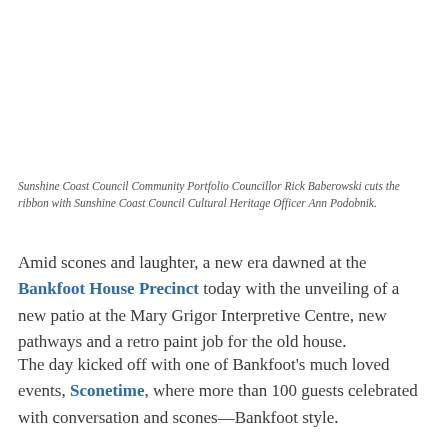Sunshine Coast Council Community Portfolio Councillor Rick Baberowski cuts the ribbon with Sunshine Coast Council Cultural Heritage Officer Ann Podobnik.
Amid scones and laughter, a new era dawned at the Bankfoot House Precinct today with the unveiling of a new patio at the Mary Grigor Interpretive Centre, new pathways and a retro paint job for the old house.
The day kicked off with one of Bankfoot's much loved events, Sconetime, where more than 100 guests celebrated with conversation and scones—Bankfoot style.